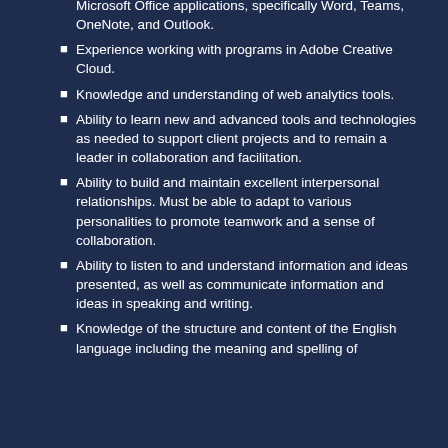Microsoft Office applications, specifically Word, Teams, OneNote, and Outlook.
Experience working with programs in Adobe Creative Cloud.
Knowledge and understanding of web analytics tools.
Ability to learn new and advanced tools and technologies as needed to support client projects and to remain a leader in collaboration and facilitation.
Ability to build and maintain excellent interpersonal relationships. Must be able to adapt to various personalities to promote teamwork and a sense of collaboration.
Ability to listen to and understand information and ideas presented, as well as communicate information and ideas in speaking and writing.
Knowledge of the structure and content of the English language including the meaning and spelling of